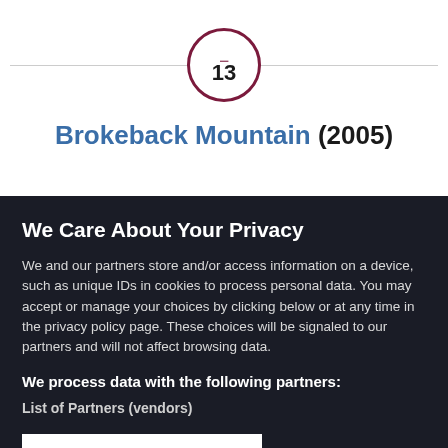13
Brokeback Mountain (2005)
We Care About Your Privacy
We and our partners store and/or access information on a device, such as unique IDs in cookies to process personal data. You may accept or manage your choices by clicking below or at any time in the privacy policy page. These choices will be signaled to our partners and will not affect browsing data.
We process data with the following partners:
List of Partners (vendors)
I Accept
Manage Cookies